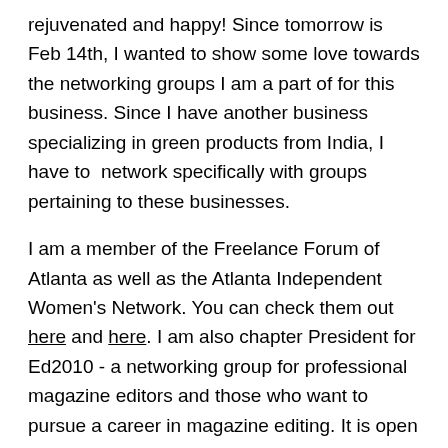rejuvenated and happy! Since tomorrow is Feb 14th, I wanted to show some love towards the networking groups I am a part of for this business. Since I have another business specializing in green products from India, I have to  network specifically with groups pertaining to these businesses.
I am a member of the Freelance Forum of Atlanta as well as the Atlanta Independent Women's Network. You can check them out here and here. I am also chapter President for Ed2010 - a networking group for professional magazine editors and those who want to pursue a career in magazine editing. It is open to editors, writers, reporters, and pretty much all folks in the publishing industry. Check out the Atlanta page right here.